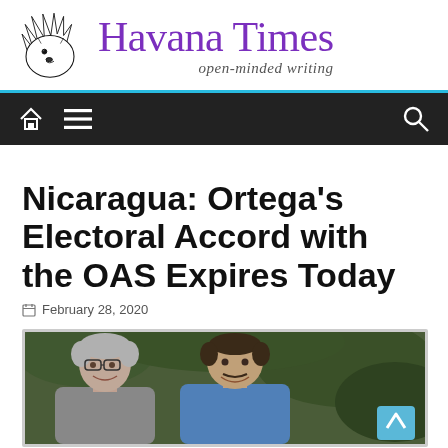Havana Times — open-minded writing
Nicaragua: Ortega's Electoral Accord with the OAS Expires Today
February 28, 2020
[Figure (photo): Two men facing each other and smiling outdoors, with green foliage in the background. The man on the left has grey hair and glasses; the man on the right wears a blue shirt.]